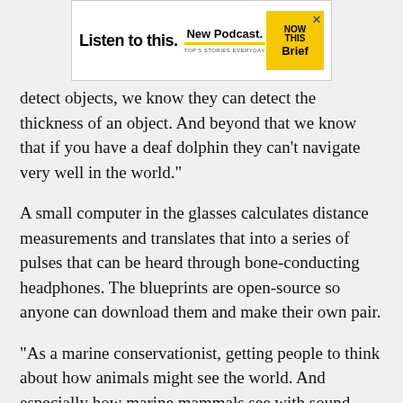[Figure (other): Advertisement banner for NowThis Brief podcast: 'Listen to this. New Podcast. TOP 5 STORIES EVERYDAY' with yellow logo.]
detect objects, we know they can detect the thickness of an object. And beyond that we know that if you have a deaf dolphin they can’t navigate very well in the world.”
A small computer in the glasses calculates distance measurements and translates that into a series of pulses that can be heard through bone-conducting headphones. The blueprints are open-source so anyone can download them and make their own pair.
“As a marine conservationist, getting people to think about how animals might see the world. And especially how marine mammals see with sound. And then using that to talk about the fact that ocean noise increases because vessel traffic increases. So the ocean is a very, very noisy place now, whereas 100 years ago, it wasn’t,” said Dr.